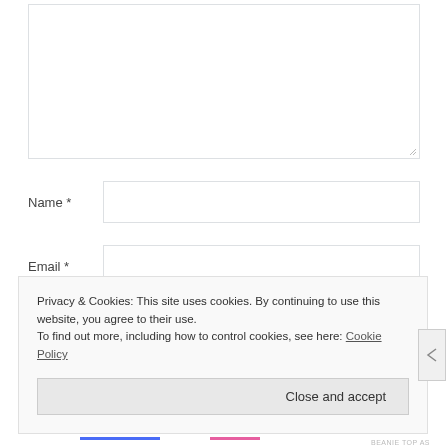[Figure (screenshot): A web form with a large textarea at the top (with resize handle), followed by Name * field, Email * field, and Website field rows. Below this is a cookie consent banner overlay with text about privacy and cookies, a Cookie Policy link, a Close and accept button, and a close X button on the right. At the bottom is a partial colored bar indicator.]
Privacy & Cookies: This site uses cookies. By continuing to use this website, you agree to their use. To find out more, including how to control cookies, see here: Cookie Policy
Close and accept